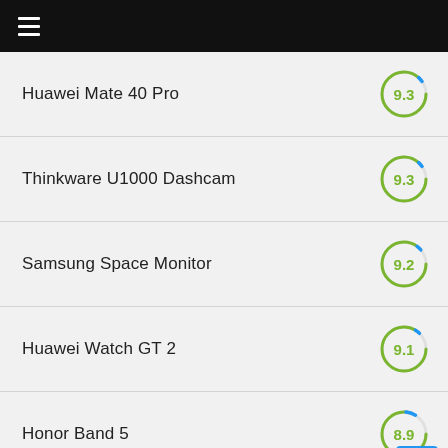Navigation menu header bar
Huawei Mate 40 Pro
Thinkware U1000 Dashcam
Samsung Space Monitor
Huawei Watch GT 2
Honor Band 5
(partial item below)